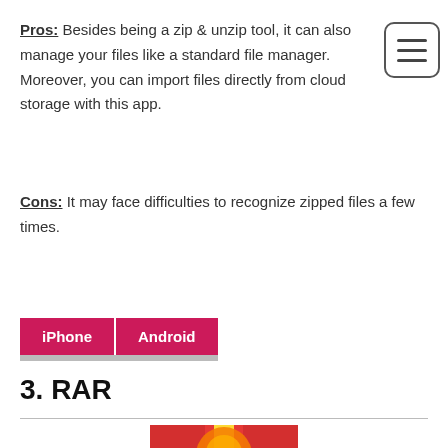Pros: Besides being a zip & unzip tool, it can also manage your files like a standard file manager. Moreover, you can import files directly from cloud storage with this app.
[Figure (other): Hamburger menu icon — three horizontal lines inside a rounded rectangle border]
Cons: It may face difficulties to recognize zipped files a few times.
iPhone  Android
3. RAR
[Figure (photo): Partial bottom of RAR app icon — red and orange colors visible at bottom of page]